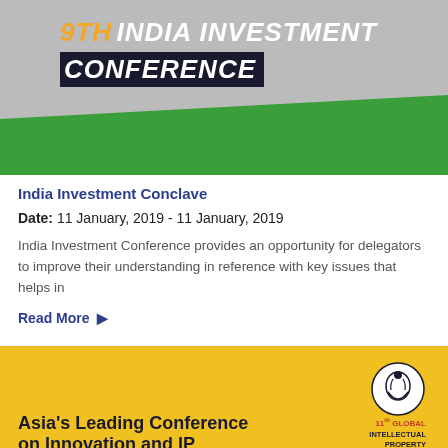[Figure (logo): 9TH INDIA INVESTMENT CONFERENCE banner with orange/gold '9TH', white 'INDIA INVESTMENT' text and dark 'CONFERENCE' text on dark background with green diagonal shape at bottom]
India Investment Conclave
Date: 11 January, 2019 - 11 January, 2019
India Investment Conference provides an opportunity for delegators to improve their understanding in reference with key issues that helps in
Read More →
[Figure (illustration): 11th Global Intellectual Property Convention banner - yellow background with dark text 'Asia's Leading Conference on Innovation and IP', and a circular logo on the right]